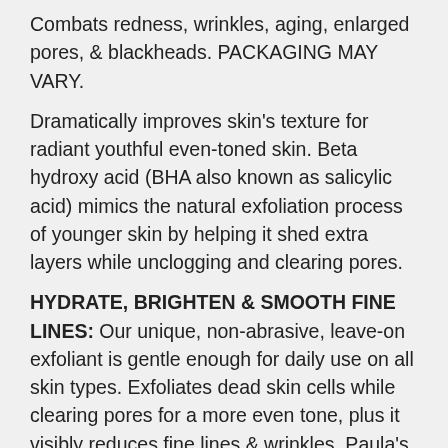Combats redness, wrinkles, aging, enlarged pores, & blackheads. PACKAGING MAY VARY.
Dramatically improves skin's texture for radiant youthful even-toned skin. Beta hydroxy acid (BHA also known as salicylic acid) mimics the natural exfoliation process of younger skin by helping it shed extra layers while unclogging and clearing pores.
HYDRATE, BRIGHTEN & SMOOTH FINE LINES: Our unique, non-abrasive, leave-on exfoliant is gentle enough for daily use on all skin types. Exfoliates dead skin cells while clearing pores for a more even tone, plus it visibly reduces fine lines & wrinkles. Paula's Choice facial exfoliants are gentler on delicate skin of the face & neck than an abrasive face scrub, which can cause micro-tears. A BHA leave-on exfoliator delivers hydration & can exfoliate directly inside the pore & improve how the pore...